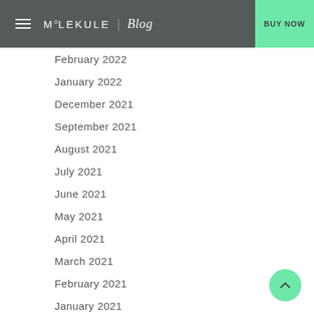MOLEKULE | Blog  BUY NOW
February 2022
January 2022
December 2021
September 2021
August 2021
July 2021
June 2021
May 2021
April 2021
March 2021
February 2021
January 2021
December 2020